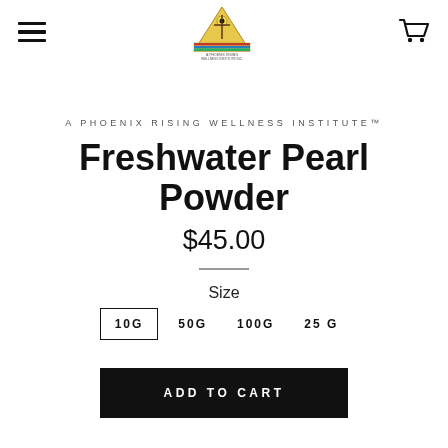A Phoenix Rising Wellness Institute logo, hamburger menu, cart icon
A PHOENIX RISING WELLNESS INSTITUTE™
Freshwater Pearl Powder
$45.00
Size
10G
50G
100G
25 G
ADD TO CART